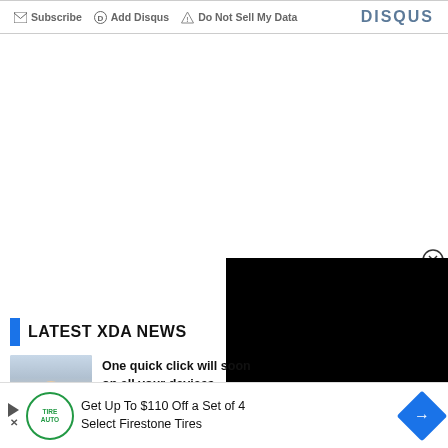Subscribe  Add Disqus  Do Not Sell My Data   DISQUS
LATEST XDA NEWS
One quick click will soon work on all your devices
[Figure (other): Black video player overlay rectangle]
[Figure (other): Advertisement banner: Get Up To $110 Off a Set of 4 Select Firestone Tires]